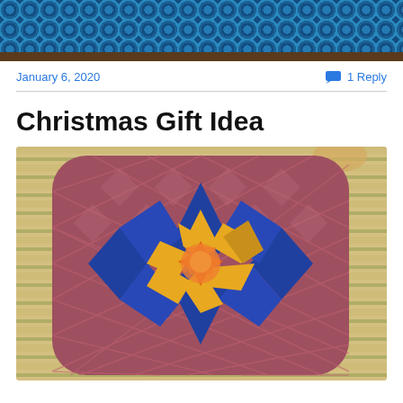[Figure (photo): Top portion of a quilt or fabric with blue circular/medallion pattern on dark brown background]
January 6, 2020
1 Reply
Christmas Gift Idea
[Figure (photo): A quilted pot holder featuring a Lone Star or eight-pointed star pattern with blue, yellow/gold, and orange fabrics on a dark rose/mauve diamond-grid background, photographed on a striped surface with wooden utensils visible]